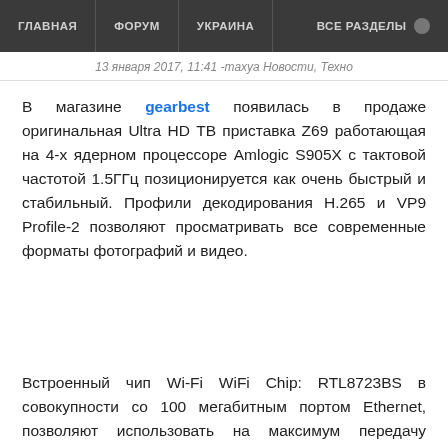ГЛАВНАЯ   ФОРУМ   УКРАИНА   ВСЕ РАЗДЕЛЫ
13 января 2017, 11:41 -тахуа Новости, Техно
В магазине gearbest появилась в продаже оригинальная Ultra HD TB приставка Z69 работающая на 4-х ядерном процессоре Amlogic S905X с тактовой частотой 1.5ГГц позиционируется как очень быстрый и стабильный. Профили декодирования H.265 и VP9 Profile-2 позволяют просматривать все современные форматы фотографий и видео.
Встроенный чип Wi-Fi WiFi Chip: RTL8723BS в совокупности со 100 мегабитным портом Ethernet, позволяют использовать на максимум передачу файлов или стрима по локальной сети. 1 Гб оперативной памяти DDR3 RAM делают работу